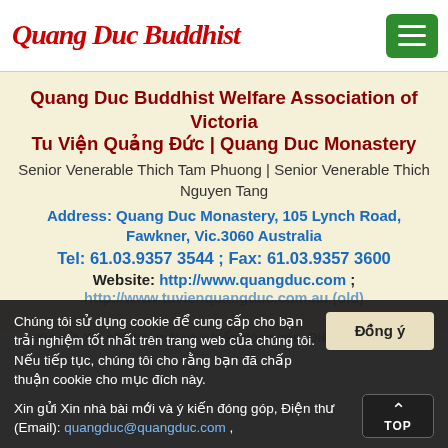Quang Duc Buddhist [logo] | Menu button
Quang Duc Buddhist Welfare Association of Victoria
Tu Viện Quảng Đức | Quang Duc Monastery
Senior Venerable Thich Tam Phuong | Senior Venerable Thich Nguyen Tang
Address: Quang Duc Monastery, 105 Lynch Road, Fawkner, Vic.3060 Australia
Tel: 61.03.9357 3544 ; Fax: 61.03.9357 3600
Website: http://www.quangduc.com ;
http://www.tuvienquangduc.com.au (old)
Chúng tôi sử dụng cookie để cung cấp cho bạn trải nghiệm tốt nhất trên trang web của chúng tôi. Nếu tiếp tục, chúng tôi cho rằng bạn đã chấp thuận cookie cho mục đích này.
Đồng ý
Xin gửi Xin nhà bài mới và ý kiến đóng góp, Điện thư (Email): quangduc@quangduc.com ,